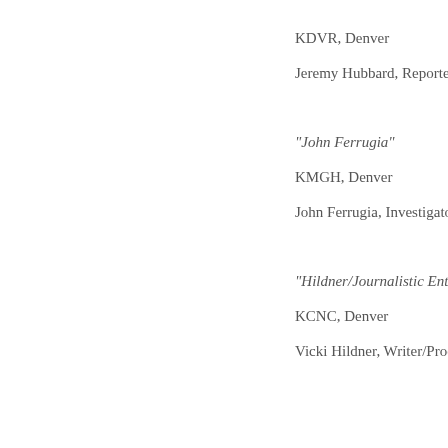KDVR, Denver
Jeremy Hubbard, Reporter
“John Ferrugia”
KMGH, Denver
John Ferrugia, Investigator
“Hildner/Journalistic Enter
KCNC, Denver
Vicki Hildner, Writer/Prod